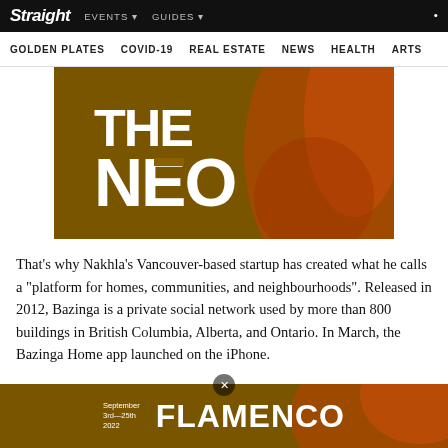Straight | EVENTS | GUIDES | GOLDEN PLATES | COVID-19 | REAL ESTATE | NEWS | HEALTH | ARTS
[Figure (illustration): The Neo logo on a dark golden/brown background with orange abstract shapes]
That’s why Nakhla’s Vancouver-based startup has created what he calls a “platform for homes, communities, and neighbourhoods”. Released in 2012, Bazinga is a private social network used by more than 800 buildings in British Columbia, Alberta, and Ontario. In March, the Bazinga Home app launched on the iPhone.
Nakhla demonstrated how a 700-unit building in Toronto and a 50-unit building in Surrey are using Bazinga. Each building
[Figure (illustration): Flamenco advertisement banner with text 'September 3rd-25th 2022 FLAMENCO' on dark golden background with orange shapes]